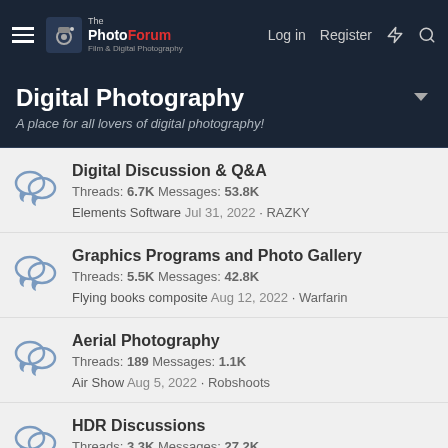The PhotoForum — Log in | Register
Digital Photography
A place for all lovers of digital photography!
Digital Discussion & Q&A
Threads: 6.7K Messages: 53.8K
Elements Software Jul 31, 2022 · RAZKY
Graphics Programs and Photo Gallery
Threads: 5.5K Messages: 42.8K
Flying books composite Aug 12, 2022 · Warfarin
Aerial Photography
Threads: 189 Messages: 1.1K
Air Show Aug 5, 2022 · Robshoots
HDR Discussions
Threads: 3.3K Messages: 27.2K